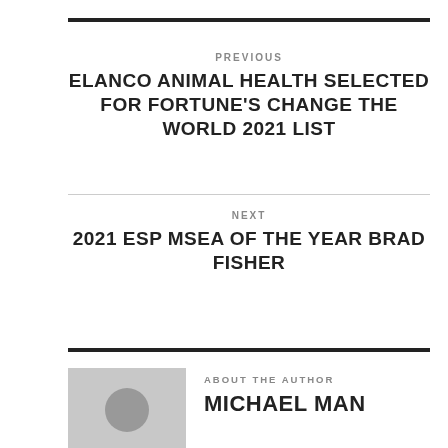PREVIOUS
ELANCO ANIMAL HEALTH SELECTED FOR FORTUNE'S CHANGE THE WORLD 2021 LIST
NEXT
2021 ESP MSEA OF THE YEAR BRAD FISHER
ABOUT THE AUTHOR
MICHAEL MAN